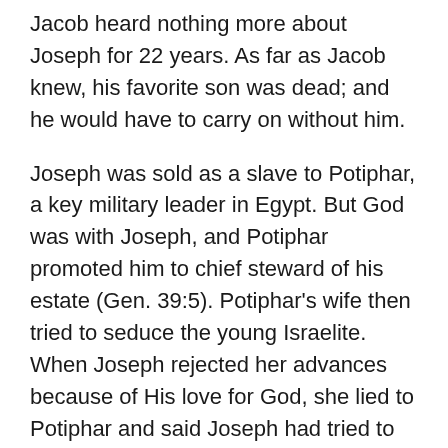Jacob heard nothing more about Joseph for 22 years. As far as Jacob knew, his favorite son was dead; and he would have to carry on without him.
Joseph was sold as a slave to Potiphar, a key military leader in Egypt. But God was with Joseph, and Potiphar promoted him to chief steward of his estate (Gen. 39:5). Potiphar's wife then tried to seduce the young Israelite. When Joseph rejected her advances because of His love for God, she lied to Potiphar and said Joseph had tried to sleep with her (vv. 7–14).